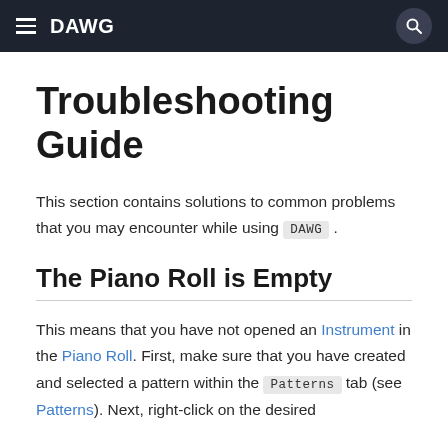DAWG
Troubleshooting Guide
This section contains solutions to common problems that you may encounter while using DAWG.
The Piano Roll is Empty
This means that you have not opened an Instrument in the Piano Roll. First, make sure that you have created and selected a pattern within the Patterns tab (see Patterns). Next, right-click on the desired